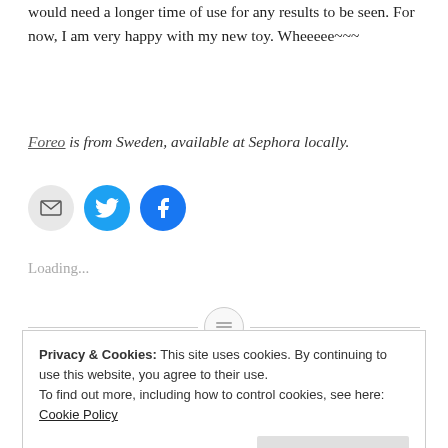would need a longer time of use for any results to be seen. For now, I am very happy with my new toy. Wheeeee~~~
Foreo is from Sweden, available at Sephora locally.
[Figure (other): Three social sharing icon buttons: email (grey circle), Twitter (blue circle with bird), Facebook (blue circle with f)]
Loading...
Privacy & Cookies: This site uses cookies. By continuing to use this website, you agree to their use. To find out more, including how to control cookies, see here: Cookie Policy